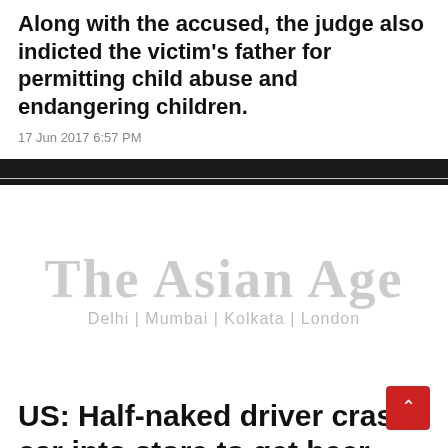Along with the accused, the judge also indicted the victim's father for permitting child abuse and endangering children.
17 Jun 2017 6:57 PM
[Figure (logo): The Asian Age newspaper logo with subtitle Delhi | Mumbai | Kolkata | London]
US: Half-naked driver crash car into store to get beer, say